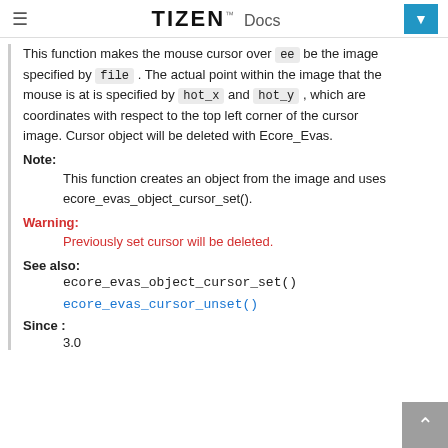TIZEN Docs
This function makes the mouse cursor over ee be the image specified by file . The actual point within the image that the mouse is at is specified by hot_x and hot_y , which are coordinates with respect to the top left corner of the cursor image. Cursor object will be deleted with Ecore_Evas.
Note:
This function creates an object from the image and uses ecore_evas_object_cursor_set().
Warning:
Previously set cursor will be deleted.
See also:
ecore_evas_object_cursor_set()
ecore_evas_cursor_unset()
Since :
3.0